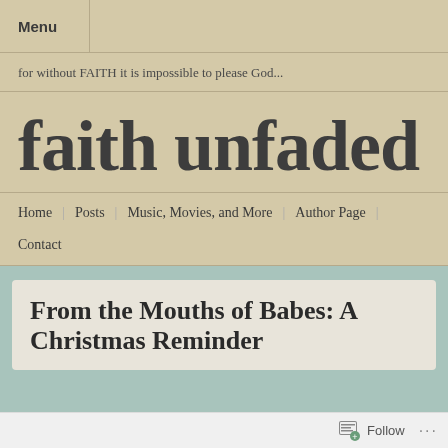Menu
for without FAITH it is impossible to please God...
faith unfaded
Home | Posts | Music, Movies, and More | Author Page | Contact
From the Mouths of Babes: A Christmas Reminder